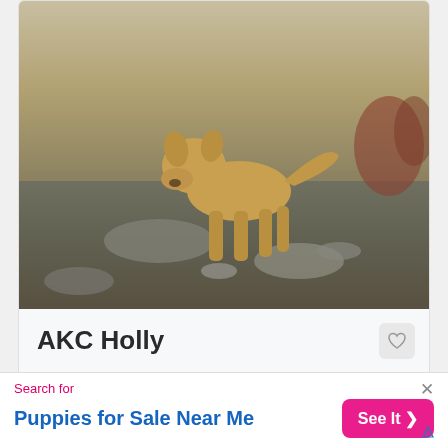[Figure (photo): Photo of a tan/golden Anatolian Shepherd puppy standing outdoors on rocky ground with dry grass]
AKC Holly
Anatolian Shepherd
Female, 42 weeks
Springfield, Missouri
Champion Bloodlines
Show Potential
Learn more >
[Figure (photo): Partial photo of another listing showing an outdoor scene with a white SUV and a dark dog]
Search for
Puppies for Sale Near Me